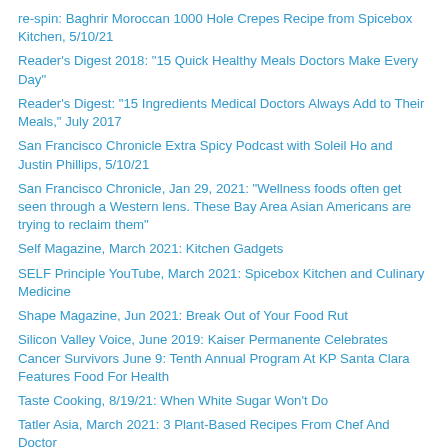re-spin: Baghrir Moroccan 1000 Hole Crepes Recipe from Spicebox Kitchen, 5/10/21
Reader's Digest 2018: "15 Quick Healthy Meals Doctors Make Every Day"
Reader's Digest: "15 Ingredients Medical Doctors Always Add to Their Meals," July 2017
San Francisco Chronicle Extra Spicy Podcast with Soleil Ho and Justin Phillips, 5/10/21
San Francisco Chronicle, Jan 29, 2021: "Wellness foods often get seen through a Western lens. These Bay Area Asian Americans are trying to reclaim them"
Self Magazine, March 2021: Kitchen Gadgets
SELF Principle YouTube, March 2021: Spicebox Kitchen and Culinary Medicine
Shape Magazine, Jun 2021: Break Out of Your Food Rut
Silicon Valley Voice, June 2019: Kaiser Permanente Celebrates Cancer Survivors June 9: Tenth Annual Program At KP Santa Clara Features Food For Health
Taste Cooking, 8/19/21: When White Sugar Won't Do
Tatler Asia, March 2021: 3 Plant-Based Recipes From Chef And Doctor